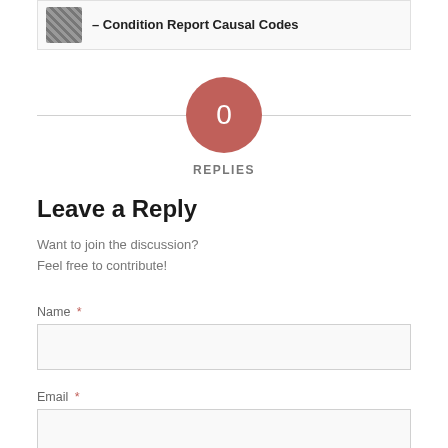– Condition Report Causal Codes
0 REPLIES
Leave a Reply
Want to join the discussion?
Feel free to contribute!
Name *
Email *